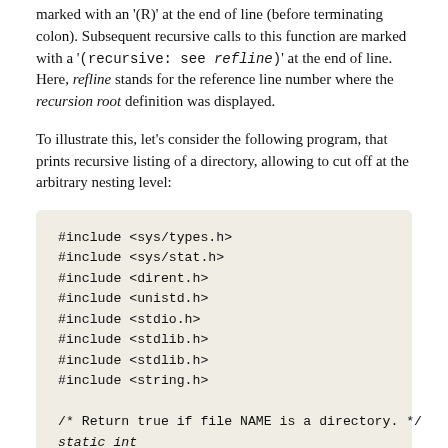marked with an '(R)' at the end of line (before terminating colon). Subsequent recursive calls to this function are marked with a '(recursive: see refline)' at the end of line. Here, refline stands for the reference line number where the recursion root definition was displayed.
To illustrate this, let's consider the following program, that prints recursive listing of a directory, allowing to cut off at the arbitrary nesting level:
[Figure (screenshot): Code block showing C include directives and beginning of a function comment: #include <sys/types.h>, #include <sys/stat.h>, #include <dirent.h>, #include <unistd.h>, #include <stdio.h>, #include <stdlib.h>, #include <stdlib.h>, #include <string.h>, then /* Return true if file NAME is a directory. */ static int]